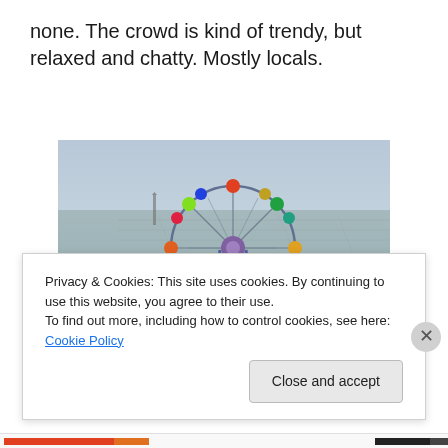none. The crowd is kind of trendy, but relaxed and chatty. Mostly locals.
[Figure (photo): Aerial view of a colorful ferris wheel in a hilltop amusement park overlooking a large city (Barcelona), with a hazy sky in the background.]
Privacy & Cookies: This site uses cookies. By continuing to use this website, you agree to their use.
To find out more, including how to control cookies, see here: Cookie Policy
Close and accept